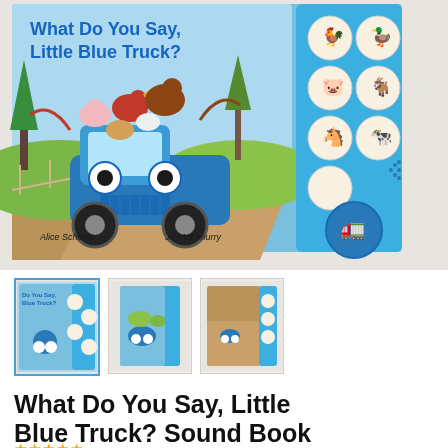[Figure (photo): Main product image of 'What Do You Say, Little Blue Truck?' sound book cover showing a blue truck with farm animals riding on it, with author names Alice Schertle and Jill McElmurry, and a panel of animal sound buttons on the right side.]
[Figure (photo): Thumbnail image 1: front cover of Little Blue Truck sound book (selected/highlighted).]
[Figure (photo): Thumbnail image 2: side/spine view of Little Blue Truck sound book.]
[Figure (photo): Thumbnail image 3: alternate view showing the book open or back cover.]
What Do You Say, Little Blue Truck? Sound Book